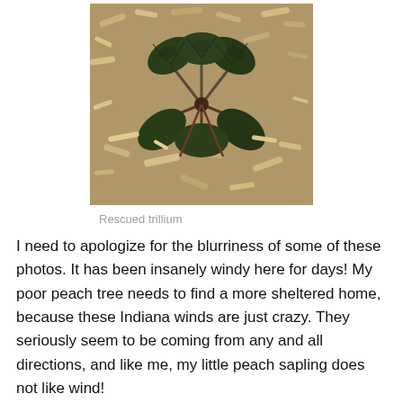[Figure (photo): A close-up photo of a rescued trillium plant growing in wood chip mulch. The plant has dark green leaves with three sets arranged in a whorl pattern.]
Rescued trillium
I need to apologize for the blurriness of some of these photos. It has been insanely windy here for days! My poor peach tree needs to find a more sheltered home, because these Indiana winds are just crazy. They seriously seem to be coming from any and all directions, and like me, my little peach sapling does not like wind!